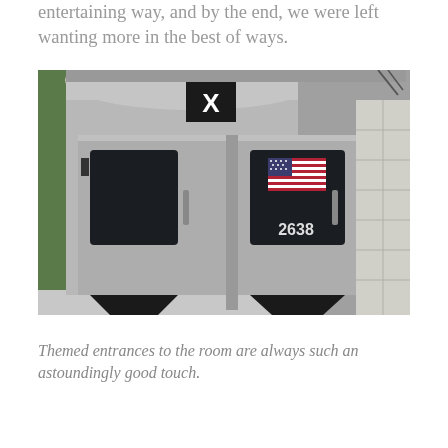entertaining way, and by the end, we were left wanting more in the best of ways.
[Figure (photo): Photograph of a subway train car exterior showing metal doors with windows. An American flag sticker and the number '2638' are visible on the right door. An 'X' sign is displayed at the top center of the car.]
Themed entrances to the room are always such an astoundingly good touch.